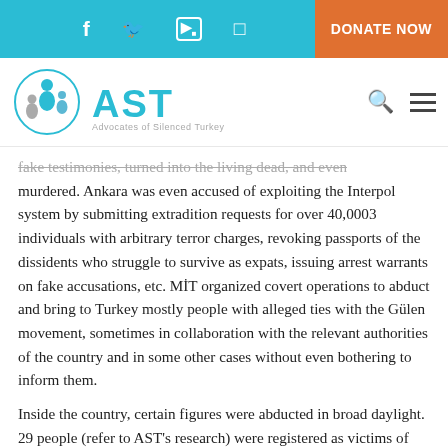AST — Advocates of Silenced Turkey — DONATE NOW
[Figure (logo): AST Advocates of Silenced Turkey logo with circular icon of figures in blue and gray]
fake testimonies, turned into the living dead, and even murdered. Ankara was even accused of exploiting the Interpol system by submitting extradition requests for over 40,0003 individuals with arbitrary terror charges, revoking passports of the dissidents who struggle to survive as expats, issuing arrest warrants on fake accusations, etc. MİT organized covert operations to abduct and bring to Turkey mostly people with alleged ties with the Gülen movement, sometimes in collaboration with the relevant authorities of the country and in some other cases without even bothering to inform them.
Inside the country, certain figures were abducted in broad daylight. 29 people (refer to AST's research) were registered as victims of enforced disappearance. A majority of these people were released, while some are feared to have been killed since